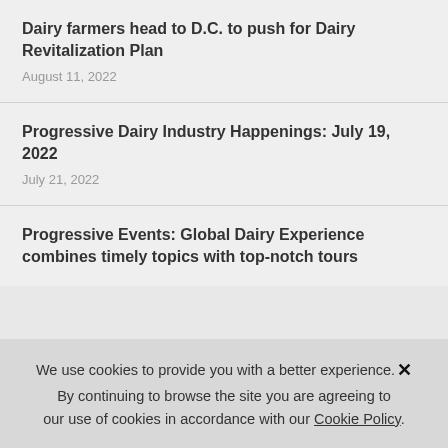Dairy farmers head to D.C. to push for Dairy Revitalization Plan
August 11, 2022
Progressive Dairy Industry Happenings: July 19, 2022
July 21, 2022
Progressive Events: Global Dairy Experience combines timely topics with top-notch tours
We use cookies to provide you with a better experience. By continuing to browse the site you are agreeing to our use of cookies in accordance with our Cookie Policy.